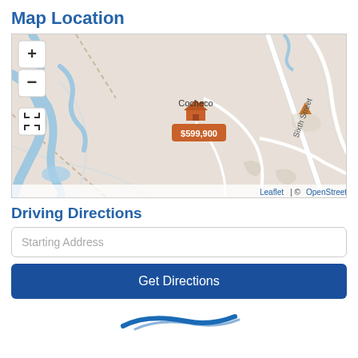Map Location
[Figure (map): OpenStreetMap map showing Cocheco area with a property marker at $599,900, river features, and Sixth Street road. Map controls include zoom in (+), zoom out (-), and fullscreen buttons. Attribution: Leaflet | © OpenStreetMap contributors.]
Driving Directions
Starting Address
Get Directions